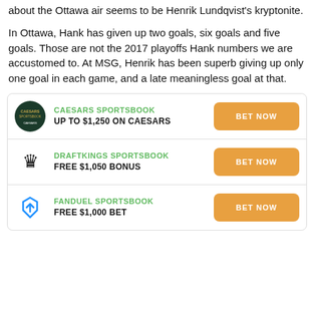about the Ottawa air seems to be Henrik Lundqvist's kryptonite.
In Ottawa, Hank has given up two goals, six goals and five goals. Those are not the 2017 playoffs Hank numbers we are accustomed to. At MSG, Henrik has been superb giving up only one goal in each game, and a late meaningless goal at that.
[Figure (infographic): Sportsbook advertisement widget with three rows: Caesars Sportsbook (UP TO $1,250 ON CAESARS, BET NOW), DraftKings Sportsbook (FREE $1,050 BONUS, BET NOW), FanDuel Sportsbook (FREE $1,000 BET, BET NOW)]